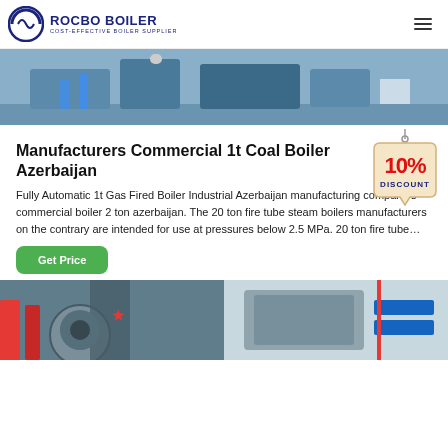ROCBO BOILER - COST-EFFECTIVE BOILER SUPPLIER
[Figure (photo): Industrial boiler facility interior, blue-toned machinery and equipment]
Manufacturers Commercial 1t Coal Boiler Azerbaijan
[Figure (infographic): 10% DISCOUNT badge/sticker]
Fully Automatic 1t Gas Fired Boiler Industrial Azerbaijan manufacturing companies commercial boiler 2 ton azerbaijan. The 20 ton fire tube steam boilers manufacturers on the contrary are intended for use at pressures below 2.5 MPa. 20 ton fire tube…
[Figure (photo): Get Price button (green rounded rectangle)]
[Figure (photo): Two industrial boiler images side by side at bottom of page]